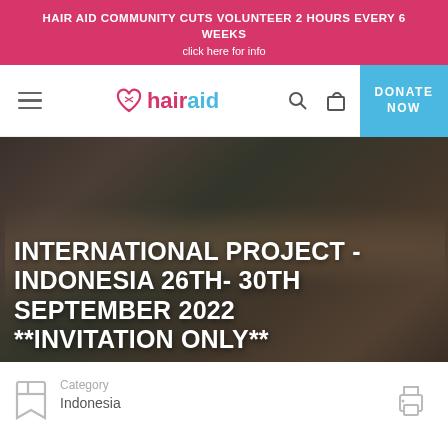HAIR AID COMMUNITY CUTS VOLUNTEER 2 HOURS EVERY 6 WEEKS
click here for info
[Figure (screenshot): Hair Aid website navigation bar with hamburger menu, Hair Aid logo (heart icon with hairaid text in pink and blue), search and cart icons, and a blue DONATE NOW button]
[Figure (photo): Group photo of volunteers outdoors, overlaid with large white bold text reading: INTERNATIONAL PROJECT - INDONESIA 26TH- 30TH SEPTEMBER 2022 **INVITATION ONLY**]
Category
Indonesia